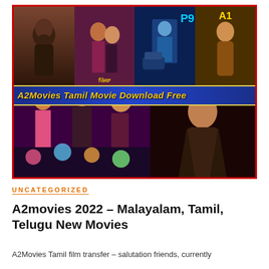[Figure (photo): Movie banner collage showing multiple South Indian film posters including KGF and others, with text 'A2Movies Tamil Movie Download Free' in the middle on a blue banner with yellow border]
UNCATEGORIZED
A2movies 2022 – Malayalam, Tamil, Telugu New Movies
A2Movies Tamil film transfer – salutation friends, currently